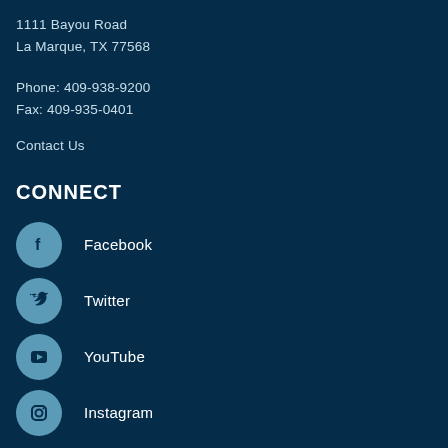1111 Bayou Road
La Marque, TX 77568
Phone: 409-938-9200
Fax: 409-935-0401
Contact Us
CONNECT
Facebook
Twitter
YouTube
Instagram
QUICK LINKS